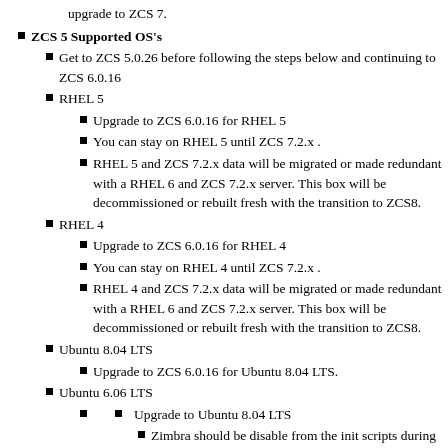upgrade to ZCS 7.
ZCS 5 Supported OS's
Get to ZCS 5.0.26 before following the steps below and continuing to ZCS 6.0.16
RHEL 5
Upgrade to ZCS 6.0.16 for RHEL 5
You can stay on RHEL 5 until ZCS 7.2.x .
RHEL 5 and ZCS 7.2.x data will be migrated or made redundant with a RHEL 6 and ZCS 7.2.x server. This box will be decommissioned or rebuilt fresh with the transition to ZCS8.
RHEL 4
Upgrade to ZCS 6.0.16 for RHEL 4
You can stay on RHEL 4 until ZCS 7.2.x .
RHEL 4 and ZCS 7.2.x data will be migrated or made redundant with a RHEL 6 and ZCS 7.2.x server. This box will be decommissioned or rebuilt fresh with the transition to ZCS8.
Ubuntu 8.04 LTS
Upgrade to ZCS 6.0.16 for Ubuntu 8.04 LTS.
Ubuntu 6.06 LTS
Upgrade to Ubuntu 8.04 LTS
Zimbra should be disable from the init scripts during this phase until your on